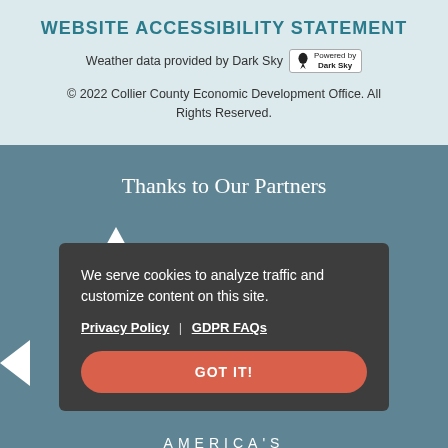WEBSITE ACCESSIBILITY STATEMENT
Weather data provided by Dark Sky  Powered by Dark Sky
© 2022 Collier County Economic Development Office. All Rights Reserved.
Thanks to Our Partners
We serve cookies to analyze traffic and customize content on this site.
Privacy Policy | GDPR FAQs
GOT IT!
AMERICA'S